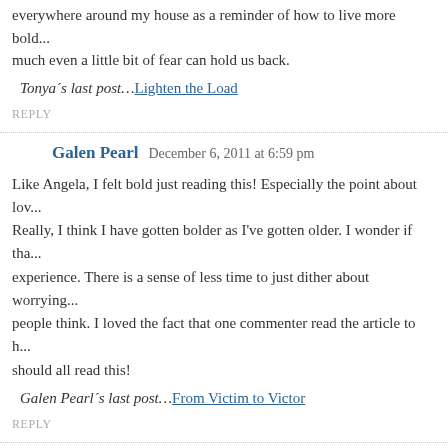everywhere around my house as a reminder of how to live more bold... much even a little bit of fear can hold us back.
Tonya´s last post…Lighten the Load
REPLY
Galen Pearl   December 6, 2011 at 6:59 pm
Like Angela, I felt bold just reading this! Especially the point about lov... Really, I think I have gotten bolder as I've gotten older. I wonder if tha... experience. There is a sense of less time to just dither about worrying... people think. I loved the fact that one commenter read the article to h... should all read this!
Galen Pearl´s last post…From Victim to Victor
REPLY
Lenia   December 7, 2011 at 10:52 am